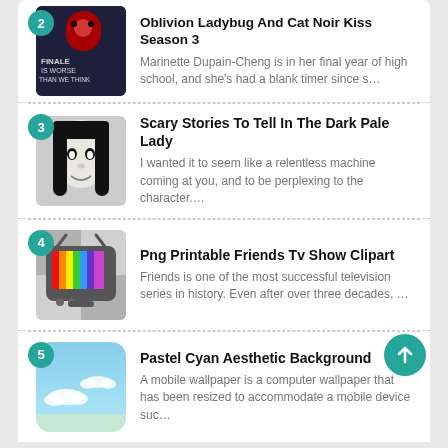2 - Oblivion Ladybug And Cat Noir Kiss Season 3 — Marinette Dupain-Cheng is in her final year of high school, and she's had a blank timer since s…
3 - Scary Stories To Tell In The Dark Pale Lady — I wanted it to seem like a relentless machine coming at you, and to be perplexing to the character.…
4 - Png Printable Friends Tv Show Clipart — Friends is one of the most successful television series in history. Even after over three decades, …
5 - Pastel Cyan Aesthetic Background — A mobile wallpaper is a computer wallpaper that has been resized to accommodate a mobile device suc…